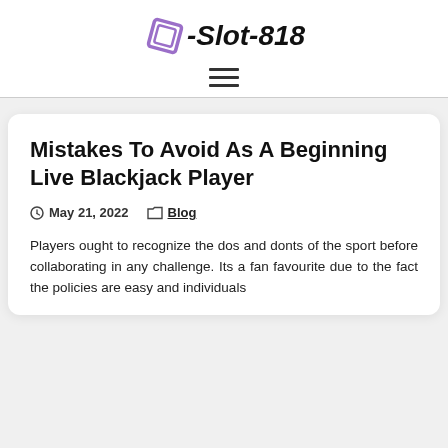e-Slot-818
Mistakes To Avoid As A Beginning Live Blackjack Player
May 21, 2022  Blog
Players ought to recognize the dos and donts of the sport before collaborating in any challenge. Its a fan favourite due to the fact the policies are easy and individuals